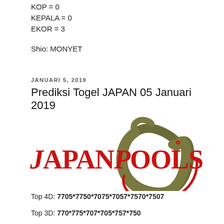KOP = 0
KEPALA = 0
EKOR = 3
Shio: MONYET
JANUARI 5, 2019
Prediksi Togel JAPAN 05 Januari 2019
[Figure (logo): JapanPools logo with red text and a fish/eel graphic in olive and red forming a circle]
Top 4D: 7705*7750*7075*7057*7570*7507
Top 3D: 770*775*707*705*757*750